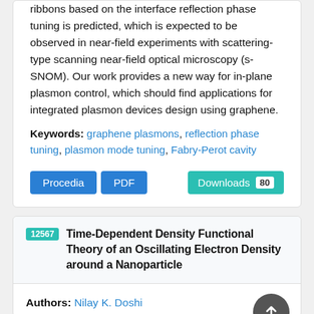ribbons based on the interface reflection phase tuning is predicted, which is expected to be observed in near-field experiments with scattering-type scanning near-field optical microscopy (s-SNOM). Our work provides a new way for in-plane plasmon control, which should find applications for integrated plasmon devices design using graphene.
Keywords: graphene plasmons, reflection phase tuning, plasmon mode tuning, Fabry-Perot cavity
Procedia | PDF | Downloads 80
12567 Time-Dependent Density Functional Theory of an Oscillating Electron Density around a Nanoparticle
Authors: Nilay K. Doshi